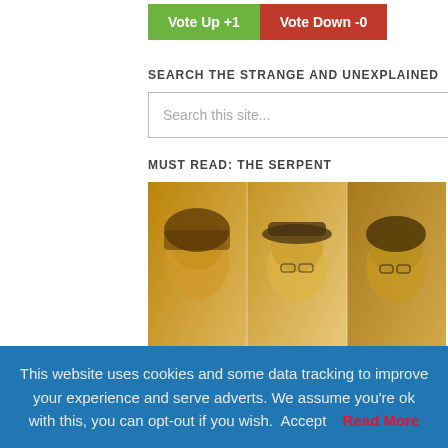Vote Up +1
Vote Down -0
SEARCH THE STRANGE AND UNEXPLAINED
Search this site...
MUST READ: THE SERPENT
[Figure (photo): Vintage sepia-toned collage of three men: left — young man with curly dark hair; center — man wearing a flat cap and glasses; right — man with glasses and dark hair.]
This website uses cookies and some data tracking to improve your experience and serve adverts. We assume you're ok with this, you can opt-out if you wish.
Accept
Read More